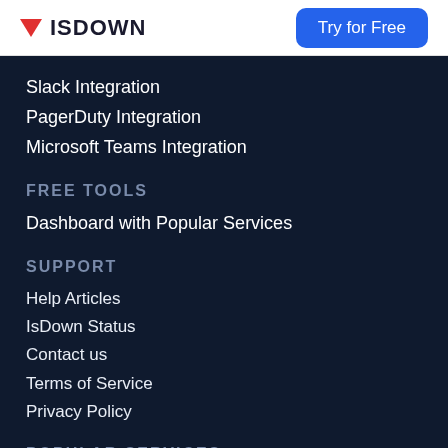[Figure (logo): ISDOWN logo with red downward triangle and bold text]
Try for Free
Slack Integration
PagerDuty Integration
Microsoft Teams Integration
FREE TOOLS
Dashboard with Popular Services
SUPPORT
Help Articles
IsDown Status
Contact us
Terms of Service
Privacy Policy
POPULAR SERVICES